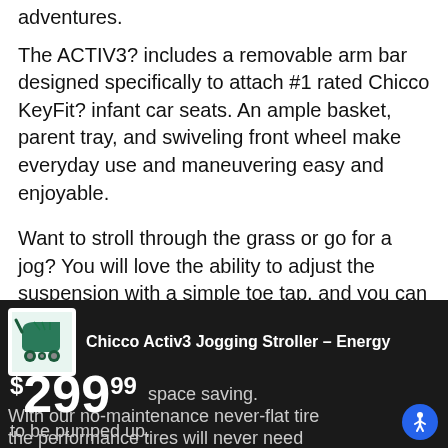adventures.
The ACTIV3? includes a removable arm bar designed specifically to attach #1 rated Chicco KeyFit? infant car seats. An ample basket, parent tray, and swiveling front wheel make everyday use and maneuvering easy and enjoyable.
Want to stroll through the grass or go for a jog? You will love the ability to adjust the suspension with a simple toe tap, and you can lock the front swivel with controls on the adjustable handlebar.
The lightweight and sporty aluminum frame folds down with one hand into a standing fold for the garage, or a flat fold for the car trunk. Additionally, k space saving. With our no-maintenance never-flat tire the performance tires will never need to be pumped up.
Chicco Activ3 Jogging Stroller – Energy
$299.99